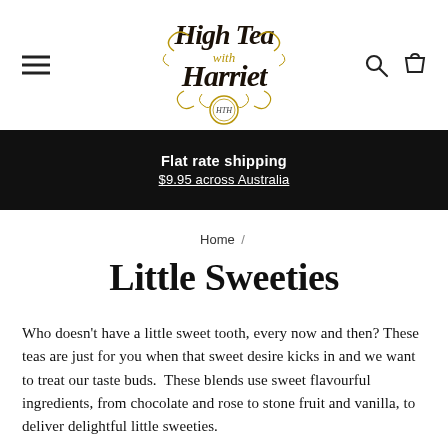[Figure (logo): High Tea with Harriet decorative logo with ornate typography and gold flourishes]
Flat rate shipping
$9.95 across Australia
Home /
Little Sweeties
Who doesn't have a little sweet tooth, every now and then? These teas are just for you when that sweet desire kicks in and we want to treat our taste buds.  These blends use sweet flavourful ingredients, from chocolate and rose to stone fruit and vanilla, to deliver delightful little sweeties.